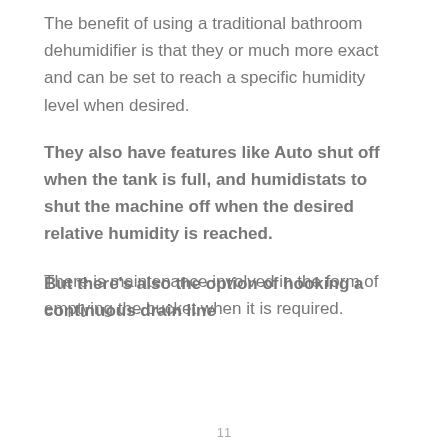The benefit of using a traditional bathroom dehumidifier is that they or much more exact and can be set to reach a specific humidity level when desired.
They also have features like Auto shut off when the tank is full, and humidistats to shut the machine off when the desired relative humidity is reached.
There is maintenance involved in the form of emptying the bucket when it is required.
But there's also the option of hooking a continuous drain line
11